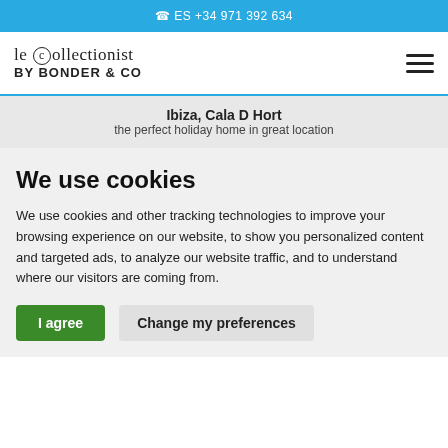ES +34 971 392 634
[Figure (logo): le collectionist by BONDER & CO logo with hamburger menu icon]
Ibiza, Cala D Hort
the perfect holiday home in great location
We use cookies
We use cookies and other tracking technologies to improve your browsing experience on our website, to show you personalized content and targeted ads, to analyze our website traffic, and to understand where our visitors are coming from.
I agree   Change my preferences